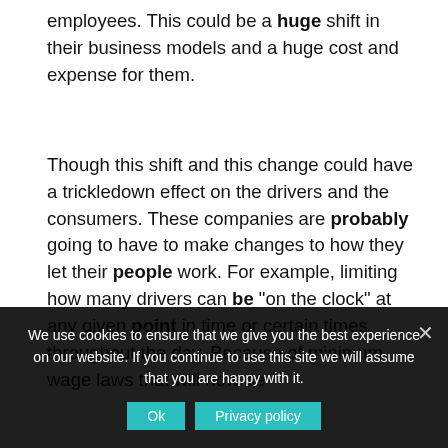employees. This could be a huge shift in their business models and a huge cost and expense for them.
Though this shift and this change could have a trickledown effect on the drivers and the consumers. These companies are probably going to have to make changes to how they let their people work. For example, limiting how many drivers can be "on the clock" at any given point in time or certain times throughout the day. Because of minimum wage laws that will now be
We use cookies to ensure that we give you the best experience on our website. If you continue to use this site we will assume that you are happy with it.